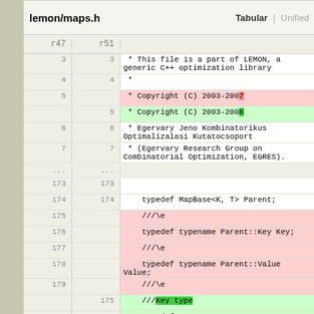lemon/maps.h   Tabular | Unified
| r47 | r51 | code |
| --- | --- | --- |
| 3 | 3 |  * This file is a part of LEMON, a generic C++ optimization library |
| 4 | 4 |  * |
| 5 |  |  * Copyright (C) 2003-2007 |
|  | 5 |  * Copyright (C) 2003-2008 |
| 6 | 6 |  * Egervary Jeno Kombinatorikus Optimalizalasi Kutatocsoport |
| 7 | 7 |  * (Egervary Research Group on Combinatorial Optimization, EGRES). |
| ... | ... |  |
| 173 | 173 |  |
| 174 | 174 |     typedef MapBase<K, T> Parent; |
| 175 |  |     ///\e |
| 176 |  |     typedef typename Parent::Key Key; |
| 177 |  |     ///\e |
| 178 |  |     typedef typename Parent::Value Value; |
| 179 |  |     ///\e |
|  | 175 |     ///Key type |
|  | 176 |     typedef typename Parent::Key Key; |
|  | 177 |     ///Value type |